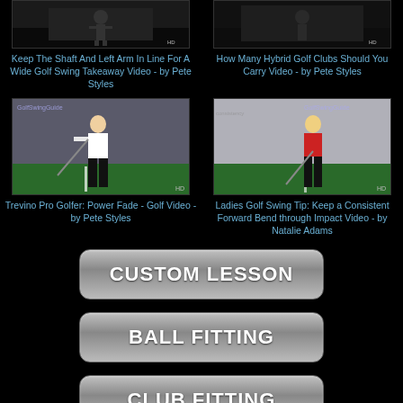[Figure (screenshot): Video thumbnail for golf swing takeaway video]
Keep The Shaft And Left Arm In Line For A Wide Golf Swing Takeaway Video - by Pete Styles
[Figure (screenshot): Video thumbnail for hybrid golf clubs video]
How Many Hybrid Golf Clubs Should You Carry Video - by Pete Styles
[Figure (screenshot): Video thumbnail showing golfer in white shirt, Trevino Pro Golfer Power Fade]
Trevino Pro Golfer: Power Fade - Golf Video - by Pete Styles
[Figure (screenshot): Video thumbnail showing female golfer in red shirt, Ladies Golf Swing Tip]
Ladies Golf Swing Tip: Keep a Consistent Forward Bend through Impact Video - by Natalie Adams
CUSTOM LESSON
BALL FITTING
CLUB FITTING